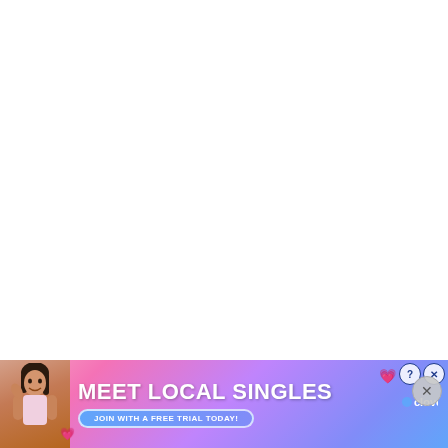[Figure (infographic): Advertisement banner at bottom of page. Pink-to-blue gradient background with a woman's photo on the left side. Text reads 'MEET LOCAL SINGLES' in large white bold font. Below is a button 'JOIN WITH A FREE TRIAL TODAY!'. Clover app logo on the right. Close buttons (? and X) in upper right corner. Heart emoji decorations. The rest of the page above the banner is white/blank.]